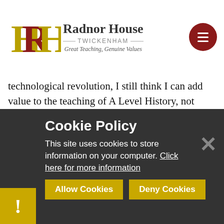[Figure (logo): Radnor House Twickenham school logo with HR monogram and tagline 'Great Teaching, Genuine Values']
technological revolution, I still think I can add value to the teaching of A Level History, not least in my attempts to show pupils that the best way to learn more about something is usually to read a relevant book. I have just ordered a newly published account of London in the seventeenth century, which
Cookie Policy
This site uses cookies to store information on your computer. Click here for more information
Allow Cookies
Deny Cookies